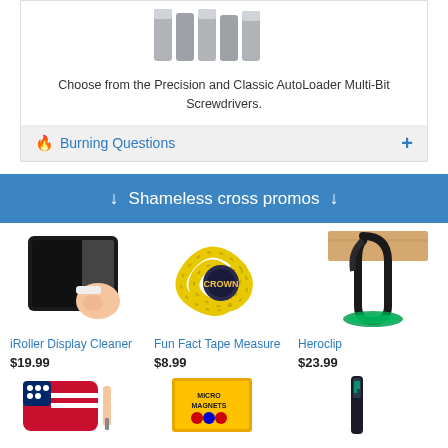[Figure (photo): Precision and Classic AutoLoader Multi-Bit Screwdrivers product photo, partial view at top]
Choose from the Precision and Classic AutoLoader Multi-Bit Screwdrivers.
🔥 Burning Questions   +
↓ Shameless cross promos ↓
[Figure (photo): iRoller Display Cleaner product photo - hand cleaning tablet screen]
iRoller Display Cleaner
$19.99
[Figure (photo): Fun Fact Tape Measure - yellow tape measure coiled up]
Fun Fact Tape Measure
$8.99
[Figure (photo): Heroclip - black carabiner clip holding green hose on wooden board]
Heroclip
$23.99
[Figure (photo): Bottom row of products - partial view showing patriotic item, writing tool, MicroMagnets box, and another product]